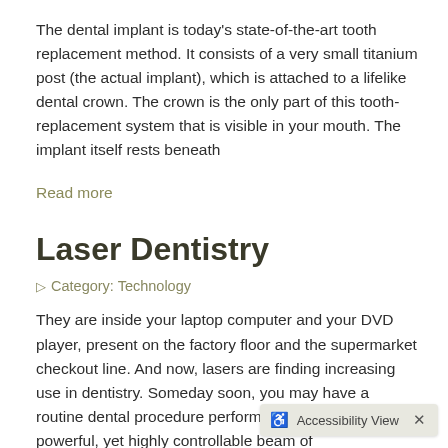The dental implant is today's state-of-the-art tooth replacement method. It consists of a very small titanium post (the actual implant), which is attached to a lifelike dental crown. The crown is the only part of this tooth-replacement system that is visible in your mouth. The implant itself rests beneath
Read more
Laser Dentistry
Category: Technology
They are inside your laptop computer and your DVD player, present on the factory floor and the supermarket checkout line. And now, lasers are finding increasing use in dentistry. Someday soon, you may have a routine dental procedure performed with the aid of a powerful, yet highly controllable beam of